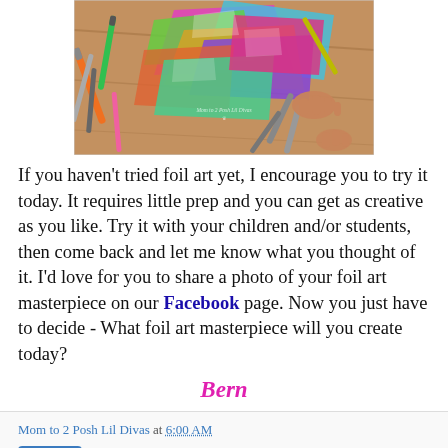[Figure (photo): Overhead photo of a child's hands doing foil art with colorful metallic foil pieces and markers scattered on a wooden table. Watermark reads 'Mom to 2 Posh Lil Divas'.]
If you haven't tried foil art yet, I encourage you to try it today. It requires little prep and you can get as creative as you like. Try it with your children and/or students, then come back and let me know what you thought of it. I'd love for you to share a photo of your foil art masterpiece on our Facebook page. Now you just have to decide - What foil art masterpiece will you create today?
Bern
Mom to 2 Posh Lil Divas at 6:00 AM